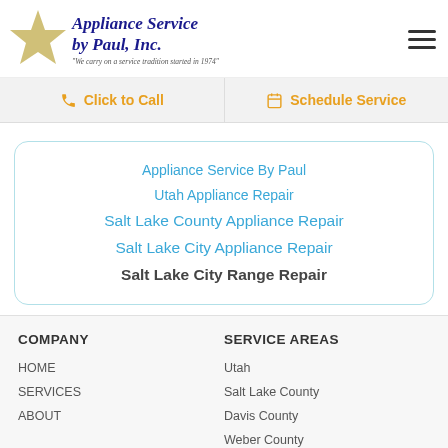[Figure (logo): Appliance Service by Paul, Inc. logo with golden star and italic navy blue text. Tagline: 'We carry on a service tradition started in 1974']
Click to Call
Schedule Service
Appliance Service By Paul
Utah Appliance Repair
Salt Lake County Appliance Repair
Salt Lake City Appliance Repair
Salt Lake City Range Repair
COMPANY
HOME
SERVICES
ABOUT
SERVICE AREAS
Utah
Salt Lake County
Davis County
Weber County